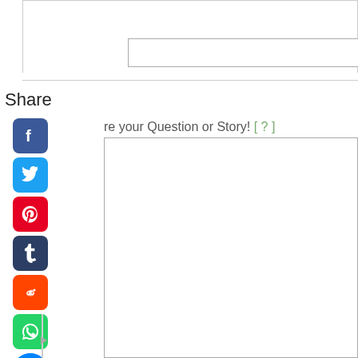[Figure (screenshot): Input text field, empty, with border]
Share
re your Question or Story! [ ? ]
[Figure (screenshot): Social media share icons: Facebook, Twitter, Pinterest, Tumblr, Reddit, WhatsApp, Facebook Messenger arranged vertically]
[Figure (screenshot): Large empty textarea input box with scroll slider on left side]